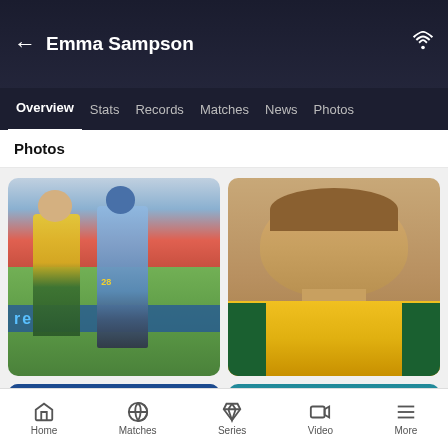Emma Sampson
Overview  Stats  Records  Matches  News  Photos
Photos
[Figure (photo): Cricket match photo showing an Australian women's player in gold/green kit and an Indian batter in blue kit with number 28]
[Figure (photo): Portrait headshot of Emma Sampson in Australian cricket yellow jersey, smiling]
[Figure (photo): Partial cricket action photo, bottom left, stadium seats visible]
[Figure (photo): Partial cricket bowler action photo, bottom right]
Home  Matches  Series  Video  More